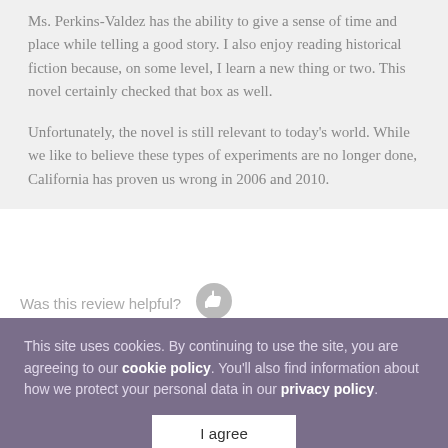Ms. Perkins-Valdez has the ability to give a sense of time and place while telling a good story. I also enjoy reading historical fiction because, on some level, I learn a new thing or two. This novel certainly checked that box as well.
Unfortunately, the novel is still relevant to today's world. While we like to believe these types of experiments are no longer done, California has proven us wrong in 2006 and 2010.
Was this review helpful?
This site uses cookies. By continuing to use the site, you are agreeing to our cookie policy. You'll also find information about how we protect your personal data in our privacy policy.
I agree